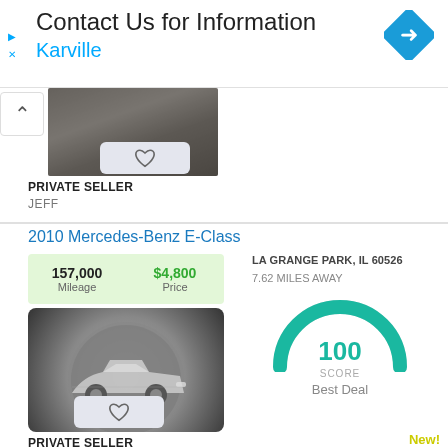[Figure (screenshot): Advertisement banner for Karville with navigation icon]
Contact Us for Information
Karville
[Figure (photo): Partial car photo, first listing]
PRIVATE SELLER
JEFF
2010 Mercedes-Benz E-Class
157,000 Mileage
$4,800 Price
LA GRANGE PARK, IL 60526
7.62 MILES AWAY
[Figure (illustration): Car placeholder icon in grey circle]
[Figure (infographic): Score gauge showing 100 - Best Deal]
100
SCORE
Best Deal
PRIVATE SELLER
New!